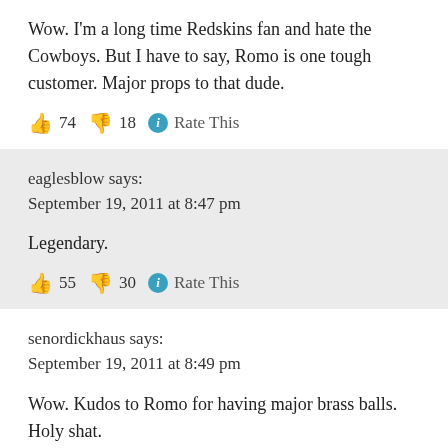Wow. I'm a long time Redskins fan and hate the Cowboys. But I have to say, Romo is one tough customer. Major props to that dude.
👍 74 👎 18 ℹ Rate This
eaglesblow says:
September 19, 2011 at 8:47 pm
Legendary.
👍 55 👎 30 ℹ Rate This
senordickhaus says:
September 19, 2011 at 8:49 pm
Wow. Kudos to Romo for having major brass balls. Holy shat.
👍 62 👎 13 ℹ Rate This
truehog21 says: